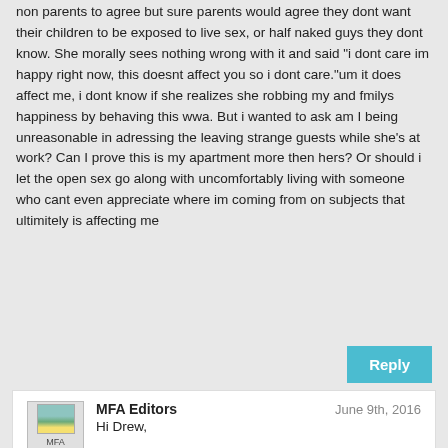non parents to agree but sure parents would agree they dont want their children to be exposed to live sex, or half naked guys they dont know. She morally sees nothing wrong with it and said "i dont care im happy right now, this doesnt affect you so i dont care."um it does affect me, i dont know if she realizes she robbing my and fmilys happiness by behaving this wwa. But i wanted to ask am I being unreasonable in adressing the leaving strange guests while she's at work? Can I prove this is my apartment more then hers? Or should i let the open sex go along with uncomfortably living with someone who cant even appreciate where im coming from on subjects that ultimitely is affecting me
Reply
MFA Editors
June 9th, 2016
Hi Drew,
You really have a tough situation to deal with and we are not equipped to give you much useful advice on this. The only things we can say is that if your in-law signed the lease she has the right to stay in the apartment and that your first concern needs to be the